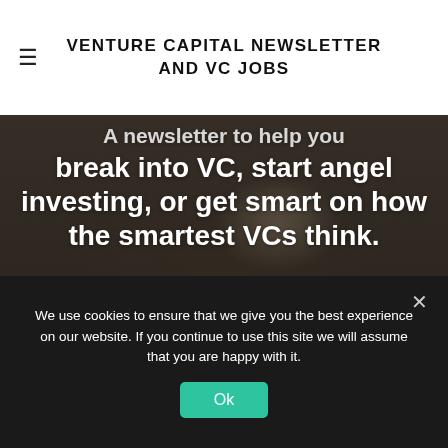VENTURE CAPITAL NEWSLETTER AND VC JOBS
[Figure (photo): Hero section with dark overlay over a coffee mug on a wooden table background]
break into VC, start angel investing, or get smart on how the smartest VCs think.
Email Address
SUBSCRIBE
We won't send you spam. Unsubscribe at any time.
We use cookies to ensure that we give you the best experience on our website. If you continue to use this site we will assume that you are happy with it.
Ok